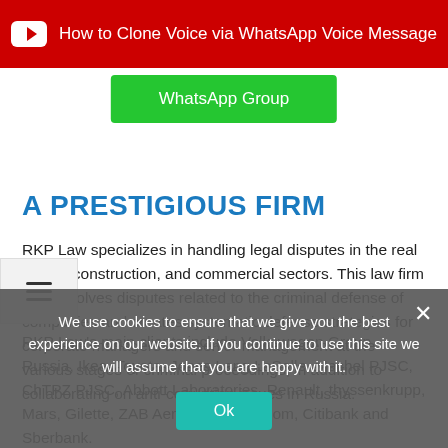[Figure (screenshot): Red YouTube banner with YouTube icon and text 'How to Clone Voice via WhatsApp Voice Message']
[Figure (screenshot): Green WhatsApp Group button]
A PRESTIGIOUS FIRM
RKP Law specializes in handling legal disputes in the real estate, construction, and commercial sectors. This law firm also resolves disputes related to the criminal defense of companies and creates systematic defense strategies for corporate managers and senior management at the various stages of criminal proceedings, in addition to collaborating on anti-corruption issues in Russia.
RKP Law's main clients include Volkswagen Group Russia, Ikea, Toyota, Jones Lang LaSalle, Mechel PJSC, ChTPZ PJSC, Abbott Laboratories, Renault, thyssenkrupp, Mars, Gillette, ZAB Aeroflot, VimpelCom, Citibank and Sberbank.
We use cookies to ensure that we give you the best experience on our website. If you continue to use this site we will assume that you are happy with it.